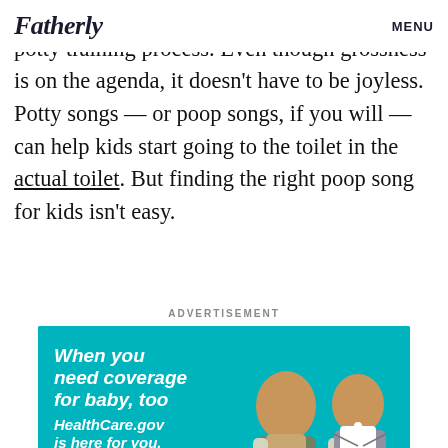Fatherly | MENU
tears are normal and inevitable parts of the potty training process. Even though grossness is on the agenda, it doesn't have to be joyless. Potty songs — or poop songs, if you will — can help kids start going to the toilet in the actual toilet. But finding the right poop song for kids isn't easy.
ADVERTISEMENT
[Figure (photo): HealthCare.gov advertisement. Teal background with text: 'When you need coverage for baby, too. HealthCare.gov is here for you. Limited time to enroll.' Shows a pregnant Asian woman and a man holding a baby onesie. Illustrated pink dresser and white crib in foreground.]